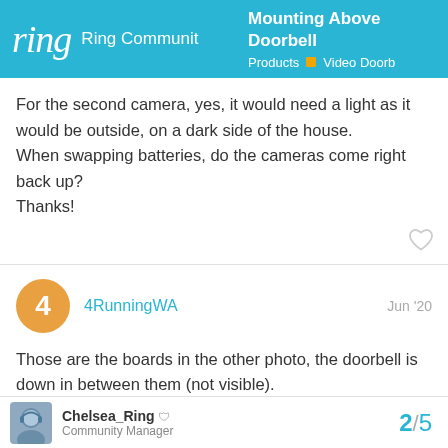Ring Community — Mounting Above Doorbell — Products / Video Doorb
For the second camera, yes, it would need a light as it would be outside, on a dark side of the house.
When swapping batteries, do the cameras come right back up?
Thanks!
4RunningWA  Jun '20
Those are the boards in the other photo, the doorbell is down in between them (not visible).
Chelsea_Ring  Community Manager  2 / 5